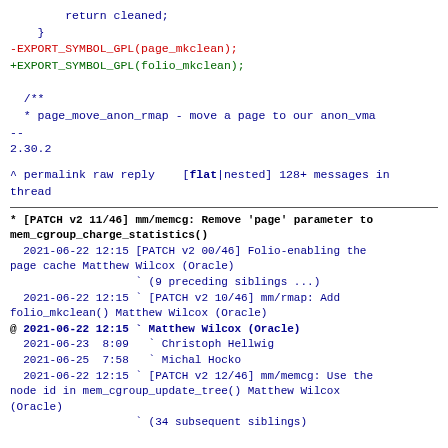return cleaned;
    }
-EXPORT_SYMBOL_GPL(page_mkclean);
+EXPORT_SYMBOL_GPL(folio_mkclean);

  /**
   * page_move_anon_rmap - move a page to our anon_vma
--
2.30.2
^ permalink raw reply    [flat|nested] 128+ messages in thread
* [PATCH v2 11/46] mm/memcg: Remove 'page' parameter to mem_cgroup_charge_statistics()
  2021-06-22 12:15 [PATCH v2 00/46] Folio-enabling the page cache Matthew Wilcox (Oracle)
                   ` (9 preceding siblings ...)
  2021-06-22 12:15 ` [PATCH v2 10/46] mm/rmap: Add folio_mkclean() Matthew Wilcox (Oracle)
@ 2021-06-22 12:15 ` Matthew Wilcox (Oracle)
  2021-06-23  8:09   ` Christoph Hellwig
  2021-06-25  7:58   ` Michal Hocko
  2021-06-22 12:15 ` [PATCH v2 12/46] mm/memcg: Use the node id in mem_cgroup_update_tree() Matthew Wilcox (Oracle)
                   ` (34 subsequent siblings)

  45 siblings, 2 replies; 128+ messages in thread